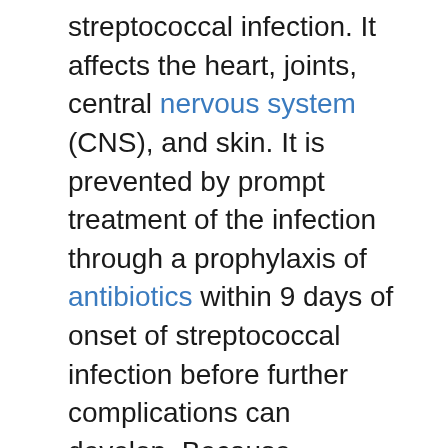streptococcal infection. It affects the heart, joints, central nervous system (CNS), and skin. It is prevented by prompt treatment of the infection through a prophylaxis of antibiotics within 9 days of onset of streptococcal infection before further complications can develop. Because rheumatic heart disease does not occur after only one attack and children are susceptible to recurrent attacks of rheumatic fever, it is vital that an initial episode is diagnosed and treated, and that long-term prophylactic therapy (5 years or more) is given following the acute phase.
The signs and symptoms of rheumatic fever are classified into major manifestations (polyarthritis, carditis, chorea, subcutaneous